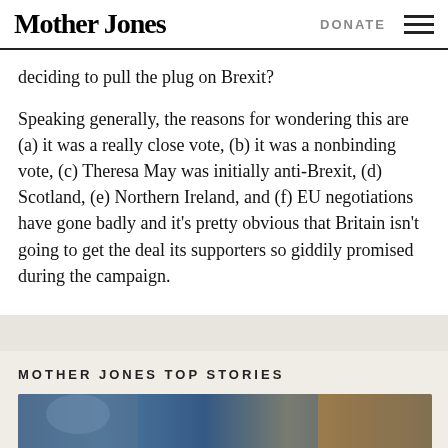Mother Jones | DONATE
deciding to pull the plug on Brexit?
Speaking generally, the reasons for wondering this are (a) it was a really close vote, (b) it was a nonbinding vote, (c) Theresa May was initially anti-Brexit, (d) Scotland, (e) Northern Ireland, and (f) EU negotiations have gone badly and it’s pretty obvious that Britain isn’t going to get the deal its supporters so giddily promised during the campaign.
MOTHER JONES TOP STORIES
[Figure (photo): Partially visible photo of a person below a section header]